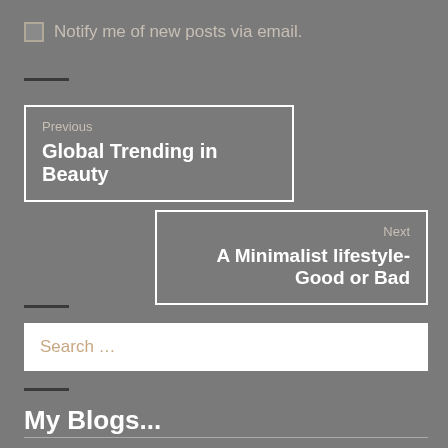Notify me of new posts via email.
Previous
Global Trending in Beauty
Next
A Minimalist lifestyle- Good or Bad
Search ...
My Blogs...